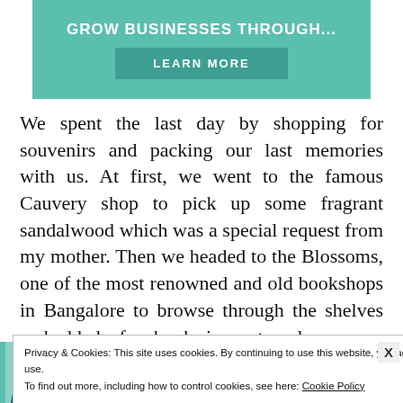[Figure (infographic): Teal advertisement banner with text 'GROW BUSINESSES THROUGH...' and a 'LEARN MORE' button]
We spent the last day by shopping for souvenirs and packing our last memories with us. At first, we went to the famous Cauvery shop to pick up some fragrant sandalwood which was a special request from my mother. Then we headed to the Blossoms, one of the most renowned and old bookshops in Bangalore to browse through the shelves and added a few books in our travel [bag. We then went stra]ight to one of [...] in MG Road [...] nothers. The [...] ull, another
Privacy & Cookies: This site uses cookies. By continuing to use this website, you agree to their use.
To find out more, including how to control cookies, see here: Cookie Policy
[Figure (infographic): SHE Partner Network advertisement banner with woman photo, bullet points about earning site & social revenue and traffic growth, SHE logo, and LEARN MORE button]